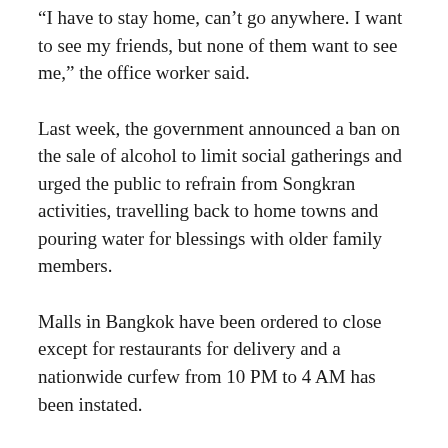“I have to stay home, can’t go anywhere. I want to see my friends, but none of them want to see me,” the office worker said.
Last week, the government announced a ban on the sale of alcohol to limit social gatherings and urged the public to refrain from Songkran activities, travelling back to home towns and pouring water for blessings with older family members.
Malls in Bangkok have been ordered to close except for restaurants for delivery and a nationwide curfew from 10 PM to 4 AM has been instated.
The unusual calm has left some feeling dazed.